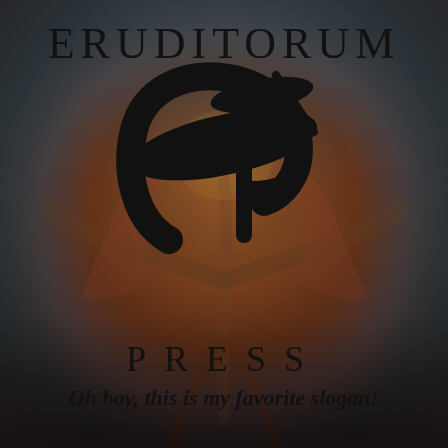[Figure (illustration): Background artwork showing a William Blake-style figure with dramatic warm orange, red, and brown tones blending into grey-blue at the edges. A human figure with outstretched arms appears to be falling or reaching downward.]
ERUDITORUM
[Figure (logo): Eruditorum Press stylized EP monogram logo in black — a flowing calligraphic E and P combined into an oval/swoosh shape.]
PRESS
Oh boy, this is my favorite slogan!